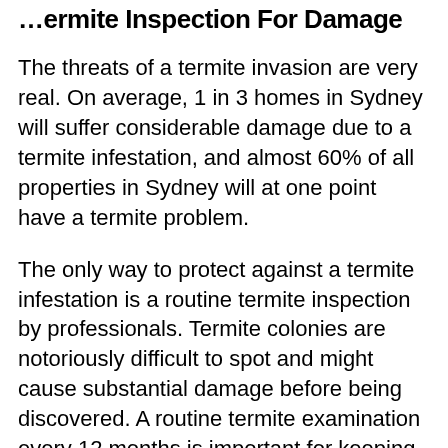Termite Inspection For Damage
The threats of a termite invasion are very real. On average, 1 in 3 homes in Sydney will suffer considerable damage due to a termite infestation, and almost 60% of all properties in Sydney will at one point have a termite problem.
The only way to protect against a termite infestation is a routine termite inspection by professionals. Termite colonies are notoriously difficult to spot and might cause substantial damage before being discovered. A routine termite examination every 12 months is important for keeping your house termite-free. In high-risk areas examinations should happen each 6 months.
When is the last time you checked your property or organisation for termites? Trained specialists at A1...